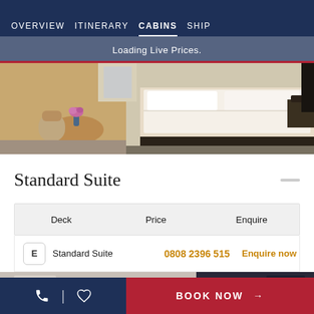OVERVIEW  ITINERARY  CABINS  SHIP
Loading Live Prices.
[Figure (photo): Hotel/cruise ship cabin room interior showing a large bed with white linens, dark headboard/base, a small round table with chairs, and a vase with flowers]
Standard Suite
| Deck | Price | Enquire |
| --- | --- | --- |
| E  Standard Suite | 0808 2396 515 | Enquire now |
[Figure (photo): Partial view of another cruise cabin interior showing light walls and dark curtains near a window]
BOOK NOW →